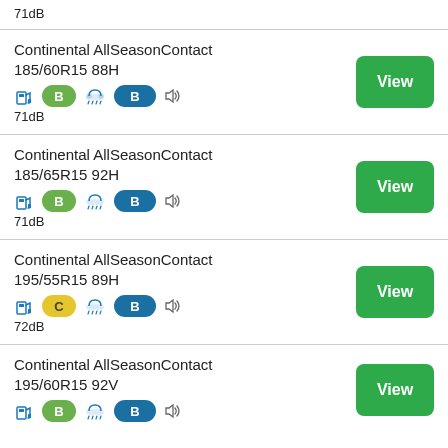71dB
Continental AllSeasonContact 185/60R15 88H, fuel efficiency: B, wet grip: B, noise: 71dB
Continental AllSeasonContact 185/65R15 92H, fuel efficiency: B, wet grip: B, noise: 71dB
Continental AllSeasonContact 195/55R15 89H, fuel efficiency: C, wet grip: B, noise: 72dB
Continental AllSeasonContact 195/60R15 92V, fuel efficiency: B, wet grip: B